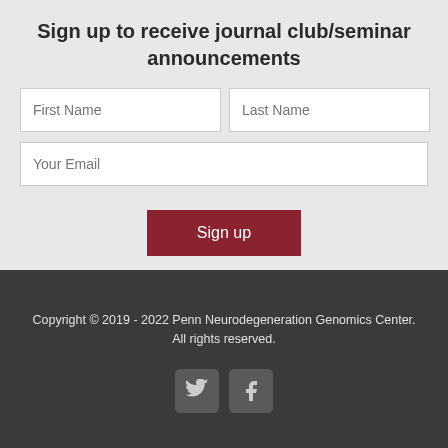Sign up to receive journal club/seminar announcements
[Figure (screenshot): Sign-up form with First Name, Last Name, and Your Email input fields, and a Sign up button]
Copyright © 2019 - 2022 Penn Neurodegeneration Genomics Center. All rights reserved.
[Figure (illustration): Twitter and Facebook social media icons in rounded square boxes]